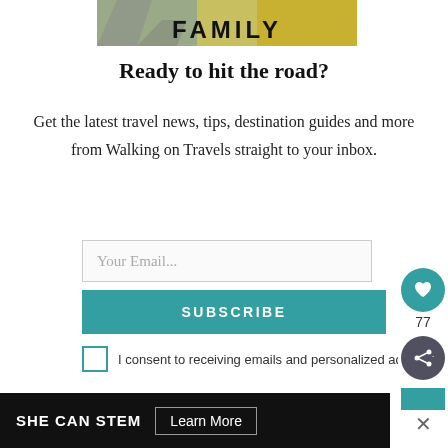[Figure (photo): Cropped top of a road trip / family travel book cover showing a highway and golden fields with the word FAMILY in bold black text]
Ready to hit the road?
Get the latest travel news, tips, destination guides and more from Walking on Travels straight to your inbox.
[Figure (screenshot): Email subscription form with 'Your Email...' input field, a teal SUBSCRIBE button, and a consent checkbox with text 'I consent to receiving emails and personalized ads.']
[Figure (infographic): Advertisement banner reading SHE CAN STEM with a Learn More button on dark background. Sidebar floating buttons with heart icon (77 likes) and share icon.]